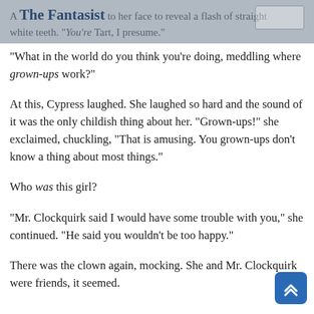A The Fantasist to her face to reveal a flash of straight white teeth. “You’re Tart, I presume.”
“What in the world do you think you’re doing, meddling where grown-ups work?”
At this, Cypress laughed. She laughed so hard and the sound of it was the only childish thing about her. “Grown-ups!” she exclaimed, chuckling, “That is amusing. You grown-ups don’t know a thing about most things.”
Who was this girl?
“Mr. Clockquirk said I would have some trouble with you,” she continued. “He said you wouldn’t be too happy.”
There was the clown again, mocking. She and Mr. Clockquirk were friends, it seemed.